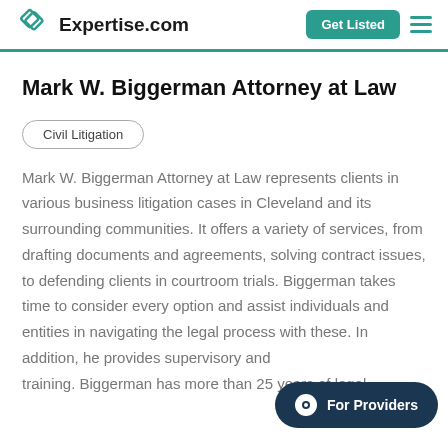Expertise.com | Get Listed
Mark W. Biggerman Attorney at Law
Civil Litigation
Mark W. Biggerman Attorney at Law represents clients in various business litigation cases in Cleveland and its surrounding communities. It offers a variety of services, from drafting documents and agreements, solving contract issues, to defending clients in courtroom trials. Biggerman takes time to consider every option and assist individuals and entities in navigating the legal process with these. In addition, he provides supervisory and training. Biggerman has more than 25 years of legal